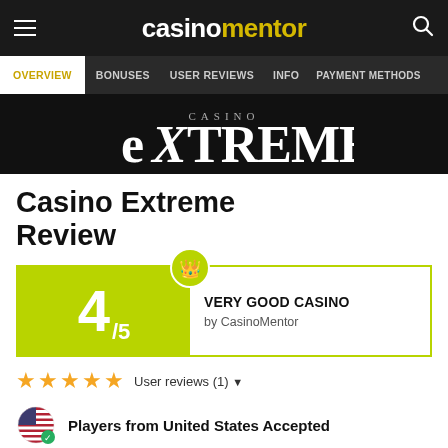casinomentor — navigation header with hamburger menu and search
OVERVIEW | BONUSES | USER REVIEWS | INFO | PAYMENT METHODS
[Figure (logo): Casino Extreme logo on black background]
Casino Extreme Review
[Figure (infographic): Rating box showing 4/5 — VERY GOOD CASINO by CasinoMentor with crown badge]
★★★★★ User reviews (1) ∨
Players from United States Accepted
No Deposit Bonus